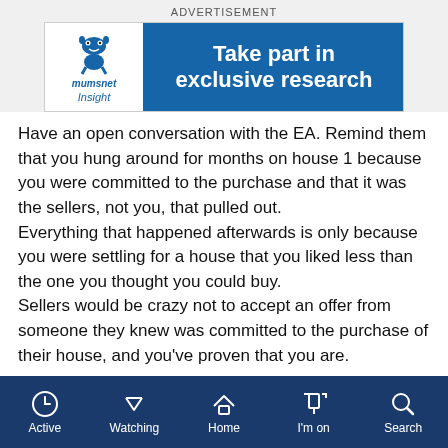ADVERTISEMENT
[Figure (logo): Mumsnet Insight advertisement banner: logo on left with mumsnet mascot and 'insight' text, blue background on right with white text 'Take part in exclusive research']
Have an open conversation with the EA. Remind them that you hung around for months on house 1 because you were committed to the purchase and that it was the sellers, not you, that pulled out.
Everything that happened afterwards is only because you were settling for a house that you liked less than the one you thought you could buy.
Sellers would be crazy not to accept an offer from someone they knew was committed to the purchase of their house, and you've proven that you are.
Active  Watching  Home  I'm on  Search